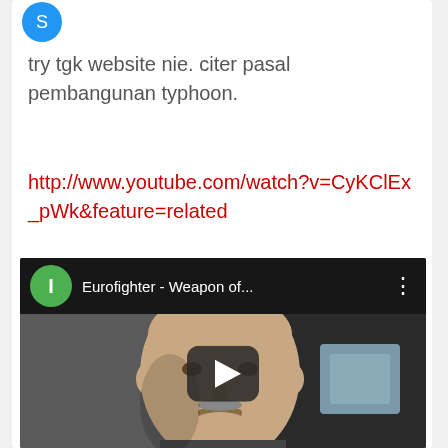[Figure (logo): Partial blue circular logo/avatar icon at top left]
try tgk website nie. citer pasal pembangunan typhoon.
http://www.youtube.com/watch?v=CyKClEx_pWk&feature=related
[Figure (screenshot): YouTube video thumbnail showing a bald man with a mustache in what appears to be a garage or workshop. The video title bar reads 'Eurofighter - Weapon of...' with a green play circle icon on the left and three-dot menu on the right. A large dark play button is centered over the thumbnail.]